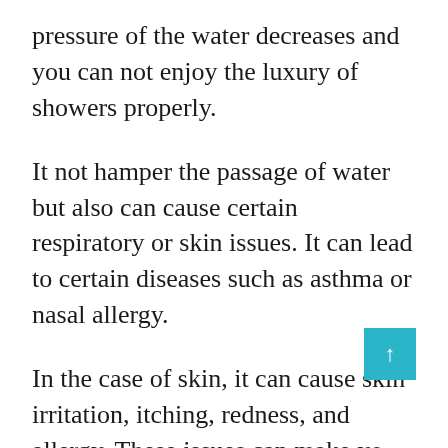pressure of the water decreases and you can not enjoy the luxury of showers properly.
It not hamper the passage of water but also can cause certain respiratory or skin issues. It can lead to certain diseases such as asthma or nasal allergy.
In the case of skin, it can cause skin irritation, itching, redness, and allergy. These issues can make your life unpleasant.